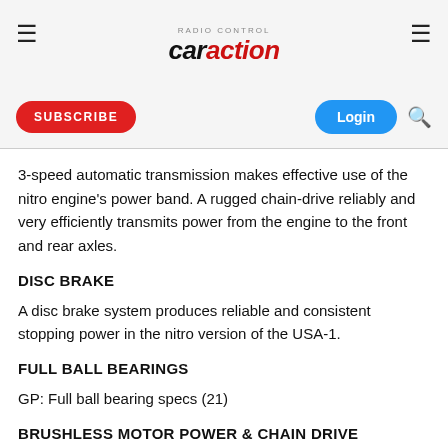RC Car Action — caraction.com
3-speed automatic transmission makes effective use of the nitro engine's power band. A rugged chain-drive reliably and very efficiently transmits power from the engine to the front and rear axles.
DISC BRAKE
A disc brake system produces reliable and consistent stopping power in the nitro version of the USA-1.
FULL BALL BEARINGS
GP: Full ball bearing specs (21)
BRUSHLESS MOTOR POWER & CHAIN DRIVE
Full power of the newly-designed brushless motor is reliably transmitted by the rugged chain drive. This version